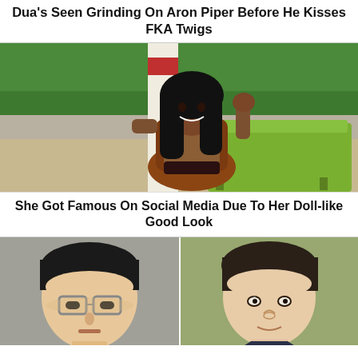Dua's Seen Grinding On Aron Piper Before He Kisses FKA Twigs
[Figure (photo): Young woman in a dark bikini sitting on a lounge chair at a beach, smiling, with long black hair, hand raised behind her head. Green lounge chair visible, tropical trees in background, striped pole/column behind her.]
She Got Famous On Social Media Due To Her Doll-like Good Look
[Figure (photo): Close-up of a person's face with glasses, dark hair, appears to be an Asian man looking downward.]
[Figure (photo): Close-up of a white man's face with dark swept hair, looking slightly to the side.]